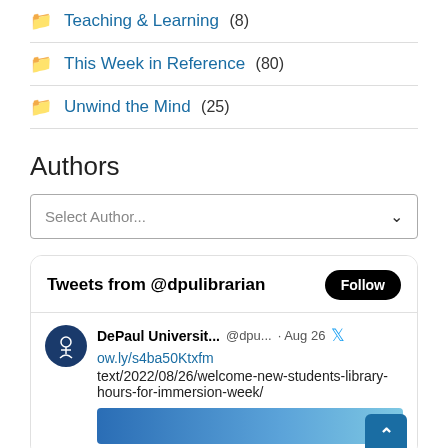Teaching & Learning (8)
This Week in Reference (80)
Unwind the Mind (25)
Authors
Select Author...
[Figure (screenshot): Tweets from @dpulibrarian widget with Follow button, DePaul University tweet dated Aug 26 with link ow.ly/s4ba50Ktxfm and text about welcome-new-students-library-hours-for-immersion-week/]